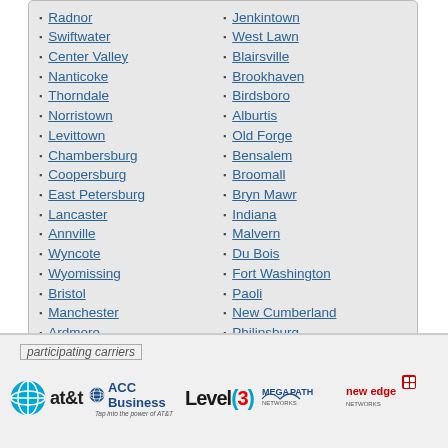Radnor, Swiftwater, Center Valley, Nanticoke, Thorndale, Norristown, Levittown, Chambersburg, Coopersburg, East Petersburg, Lancaster, Annville, Wyncote, Wyomissing, Bristol, Manchester, Ardmore, Upper Darby, Berwyn, Coraopolis
Jenkintown, West Lawn, Blairsville, Brookhaven, Birdsboro, Alburtis, Old Forge, Bensalem, Broomall, Bryn Mawr, Indiana, Malvern, Du Bois, Fort Washington, Paoli, New Cumberland, Philipsburg, Meadville, Fogelsville
participating carriers — AT&T, ACC Business, Level 3 Communications, MegaPath Networks, New Edge Networks